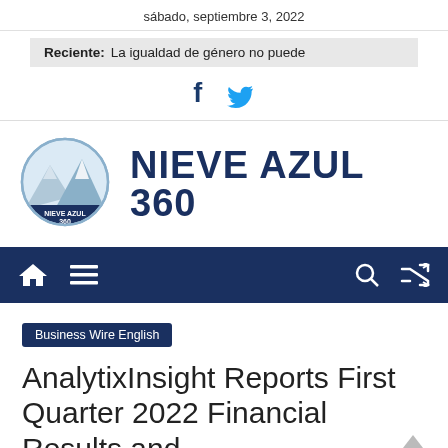sábado, septiembre 3, 2022
Reciente: La igualdad de género no puede
[Figure (logo): Social media icons: Facebook (f) and Twitter bird icon]
[Figure (logo): Nieve Azul 360 circular mountain logo with text NIEVE AZUL and 360]
NIEVE AZUL 360
[Figure (infographic): Dark blue navigation bar with home icon, hamburger menu, search icon, and shuffle icon]
Business Wire English
AnalytixInsight Reports First Quarter 2022 Financial Results and